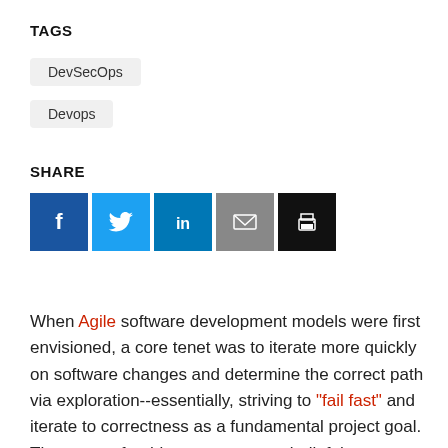TAGS
DevSecOps
Devops
SHARE
[Figure (infographic): Social share buttons: Facebook (dark blue), Twitter (light blue), LinkedIn (medium blue), Email (gray), Print (black)]
When Agile software development models were first envisioned, a core tenet was to iterate more quickly on software changes and determine the correct path via exploration--essentially, striving to "fail fast" and iterate to correctness as a fundamental project goal. The reason for this process was a belief that developers